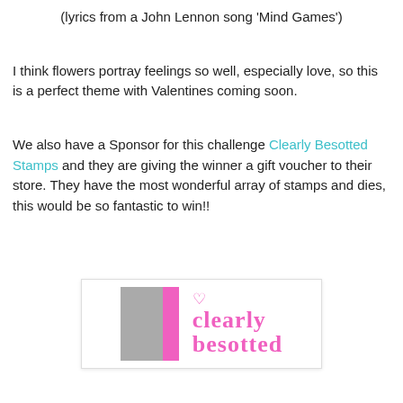(lyrics from a John Lennon song 'Mind Games')
I think flowers portray feelings so well, especially love, so this is a perfect theme with Valentines coming soon.
We also have a Sponsor for this challenge Clearly Besotted Stamps and they are giving the winner a gift voucher to their store. They have the most wonderful array of stamps and dies, this would be so fantastic to win!!
[Figure (logo): Clearly Besotted Stamps logo with gray and pink rectangles and pink serif text]